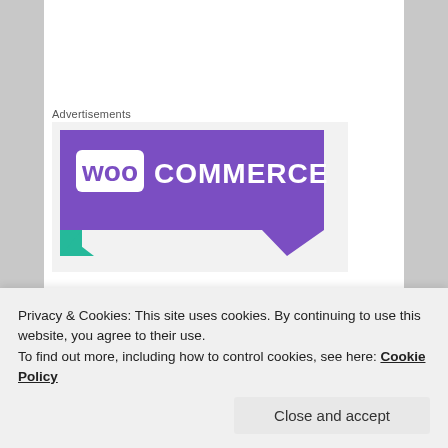Advertisements
[Figure (logo): WooCommerce advertisement banner with purple background, white WOO in a speech bubble box, COMMERCE text in white, and a green geometric shape in the lower left corner]
Texas and Florida are always great. Saw some impressive animals and was able to get some decent photos with the Nikon D70. It's always fun to play cowboy; grandpa would be proud.
Privacy & Cookies: This site uses cookies. By continuing to use this website, you agree to their use.
To find out more, including how to control cookies, see here: Cookie Policy
Close and accept